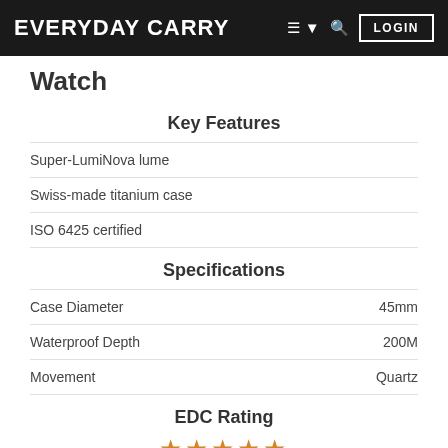EVERYDAY CARRY   LOGIN
Watch
Key Features
Super-LumiNova lume
Swiss-made titanium case
ISO 6425 certified
Specifications
|  |  |
| --- | --- |
| Case Diameter | 45mm |
| Waterproof Depth | 200M |
| Movement | Quartz |
EDC Rating
★★★★★
316 ratings